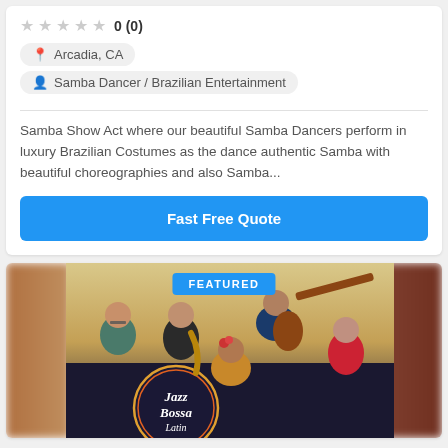0 (0)
Arcadia, CA
Samba Dancer / Brazilian Entertainment
Samba Show Act where our beautiful Samba Dancers perform in luxury Brazilian Costumes as the dance authentic Samba with beautiful choreographies and also Samba...
Fast Free Quote
[Figure (photo): Photo of a jazz/bossa nova band with multiple musicians holding instruments including saxophone and guitar, with a decorative Jazz Bossa Latin sign/logo visible. A 'FEATURED' badge is shown in blue.]